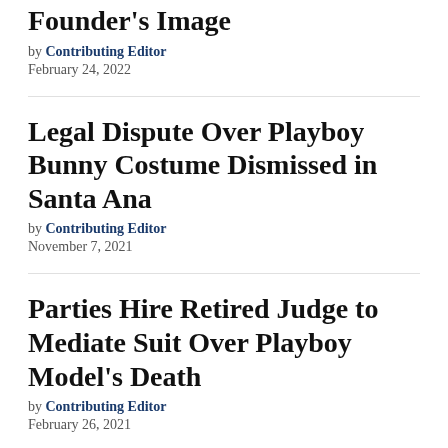Founder's Image
by Contributing Editor
February 24, 2022
Legal Dispute Over Playboy Bunny Costume Dismissed in Santa Ana
by Contributing Editor
November 7, 2021
Parties Hire Retired Judge to Mediate Suit Over Playboy Model's Death
by Contributing Editor
February 26, 2021